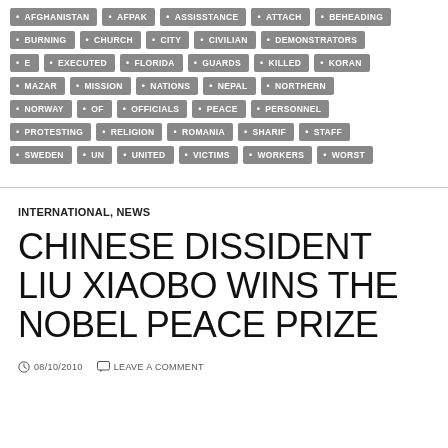[Figure (infographic): A collection of tag/chip style labels with bullet points showing keywords: AFGHANISTAN, AFPAK, ASSISSTANCE, ATTACH, BEHEADING, BURNING, CHURCH, CITY, CIVILIAN, DEMONSTRATORS, E, EXECUTED, FLORIDA, GUARDS, KILLED, KORAN, MAZAR, MISSION, NATIONS, NEPAL, NORTHERN, NORWAY, OF, OFFICIALS, PEACE, PERSONNEL, PROTESTING, RELIGION, ROMANIA, SHARIF, STAFF, SWEDEN, UN, UNITED, VICTIMS, WORKERS, WORST]
INTERNATIONAL, NEWS
CHINESE DISSIDENT LIU XIAOBO WINS THE NOBEL PEACE PRIZE
08/10/2010   LEAVE A COMMENT